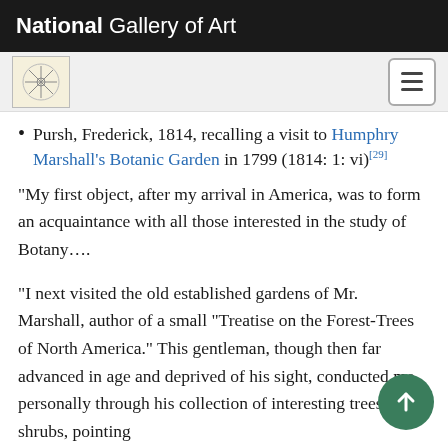National Gallery of Art
Pursh, Frederick, 1814, recalling a visit to Humphry Marshall's Botanic Garden in 1799 (1814: 1: vi)[29]
"My first object, after my arrival in America, was to form an acquaintance with all those interested in the study of Botany....
"I next visited the old established gardens of Mr. Marshall, author of a small "Treatise on the Forest-Trees of North America." This gentleman, though then far advanced in age and deprived of his sight, conducted me personally through his collection of interesting trees and shrubs, pointing